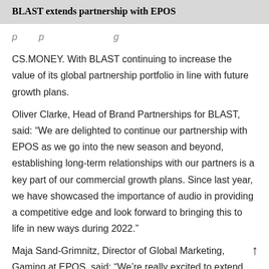BLAST extends partnership with EPOS
p… p… … g…
CS.MONEY. With BLAST continuing to increase the value of its global partnership portfolio in line with future growth plans.
Oliver Clarke, Head of Brand Partnerships for BLAST, said: “We are delighted to continue our partnership with EPOS as we go into the new season and beyond, establishing long-term relationships with our partners is a key part of our commercial growth plans. Since last year, we have showcased the importance of audio in providing a competitive edge and look forward to bringing this to life in new ways during 2022.”
Maja Sand-Grimnitz, Director of Global Marketing, Gaming at EPOS, said: “We’re really excited to extend our